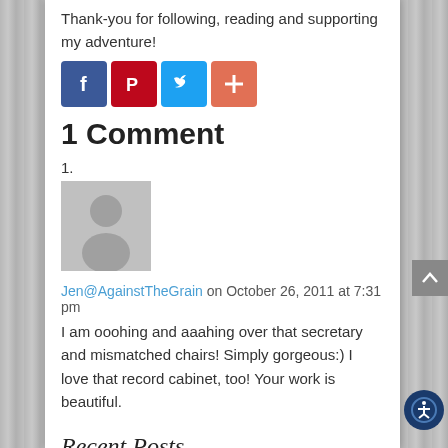Thank-you for following, reading and supporting my adventure!
[Figure (illustration): Four social media share buttons: Facebook (blue), Pinterest (red), Twitter (light blue), and a plus/more button (orange-red)]
1 Comment
1.
[Figure (photo): Generic grey user avatar placeholder image]
Jen@AgainstTheGrain on October 26, 2011 at 7:31 pm
I am ooohing and aaahing over that secretary and mismatched chairs! Simply gorgeous:) I love that record cabinet, too! Your work is beautiful.
Recent Posts